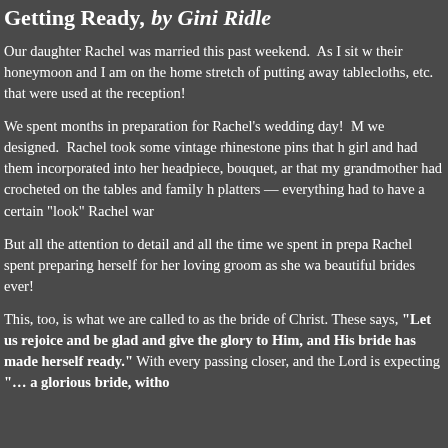Getting Ready, by Gini Ridle
Our daughter Rachel was married this past weekend. As I sit with their honeymoon and I am on the home stretch of putting away tablecloths, etc. that were used at the reception!
We spent months in preparation for Rachel's wedding day! M we designed. Rachel took some vintage rhinestone pins that h girl and had them incorporated into her headpiece, bouquet, ar that my grandmother had crocheted on the tables and family h platters — everything had to have a certain "look" Rachel war
But all the attention to detail and all the time we spent in prepa Rachel spent preparing herself for her loving groom as she wa beautiful brides ever!
This, too, is what we are called to as the bride of Christ. These says, "Let us rejoice and be glad and give the glory to Him, and His bride has made herself ready." With every passing closer, and the Lord is expecting "… a glorious bride, witho